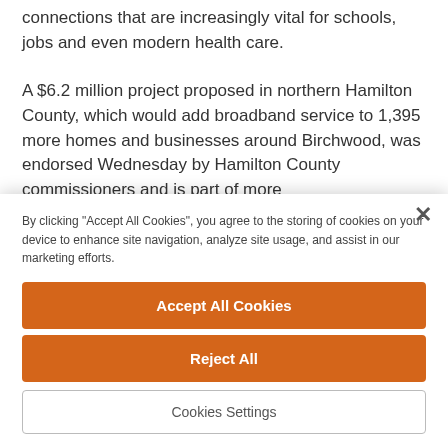connections that are increasingly vital for schools, jobs and even modern health care.
A $6.2 million project proposed in northern Hamilton County, which would add broadband service to 1,395 more homes and businesses around Birchwood, was endorsed Wednesday by Hamilton County commissioners and is part of more
By clicking "Accept All Cookies", you agree to the storing of cookies on your device to enhance site navigation, analyze site usage, and assist in our marketing efforts.
Accept All Cookies
Reject All
Cookies Settings